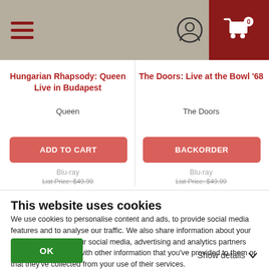Navigation header with hamburger menu, user icon, and cart icon
Hungarian Rhapsody: Queen Live in Budapest
Queen
ADD TO CART
Blu-ray
List Price: $49.99
The Doors: Live at the Bowl '68
The Doors
BACKORDER
Blu-ray
List Price: $49.99
This website uses cookies
We use cookies to personalise content and ads, to provide social media features and to analyse our traffic. We also share information about your use of our site with our social media, advertising and analytics partners who may combine it with other information that you've provided to them or that they've collected from your use of their services.
OK
Show details